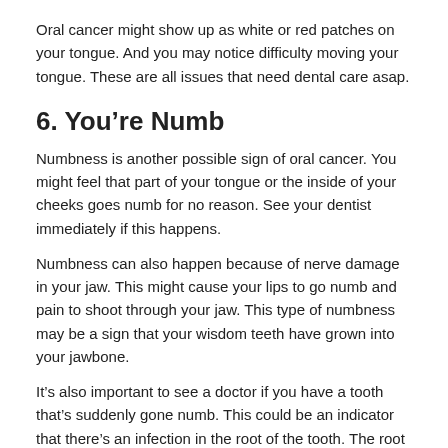Oral cancer might show up as white or red patches on your tongue. And you may notice difficulty moving your tongue. These are all issues that need dental care asap.
6. You're Numb
Numbness is another possible sign of oral cancer. You might feel that part of your tongue or the inside of your cheeks goes numb for no reason. See your dentist immediately if this happens.
Numbness can also happen because of nerve damage in your jaw. This might cause your lips to go numb and pain to shoot through your jaw. This type of numbness may be a sign that your wisdom teeth have grown into your jawbone.
It’s also important to see a doctor if you have a tooth that’s suddenly gone numb. This could be an indicator that there’s an infection in the root of the tooth. The root is where the nerves enter and exit the tooth.